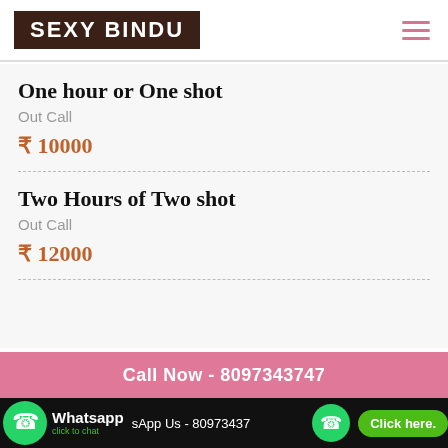SEXY BINDU
One hour or One shot
Out Call
₹ 10000
Two Hours of Two shot
Out Call
₹ 12000
Call Now - 8097343747
[Figure (screenshot): WhatsApp click to chat bar with phone icon, WhatsApp branding, 'sApp Us - 80973437' text, phone icon circle, and 'Click here.' green button]